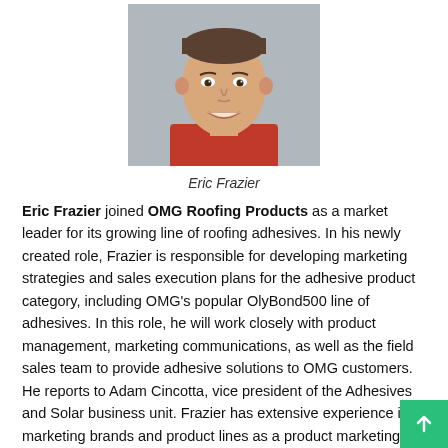[Figure (photo): Headshot photo of Eric Frazier, a man in a red shirt, smiling, against a grey background.]
Eric Frazier
Eric Frazier joined OMG Roofing Products as a market leader for its growing line of roofing adhesives. In his newly created role, Frazier is responsible for developing marketing strategies and sales execution plans for the adhesive product category, including OMG's popular OlyBond500 line of adhesives. In this role, he will work closely with product management, marketing communications, as well as the field sales team to provide adhesive solutions to OMG customers. He reports to Adam Cincotta, vice president of the Adhesives and Solar business unit. Frazier has extensive experience in marketing brands and product lines as a product marketing manager. He comes to OMG from Techtronic Industries of Anderson, SC, where he spent over six years, most recently as Group Product Manager